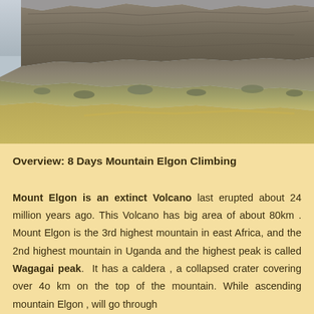[Figure (photo): Photograph of Mount Elgon showing dramatic rocky cliffs and escarpment at the top with sloping vegetation-covered hillsides below, under an overcast sky.]
Overview: 8 Days Mountain Elgon Climbing
Mount Elgon is an extinct Volcano last erupted about 24 million years ago. This Volcano has big area of about 80km . Mount Elgon is the 3rd highest mountain in east Africa, and the 2nd highest mountain in Uganda and the highest peak is called Wagagai peak.  It has a caldera , a collapsed crater covering over 4o km on the top of the mountain. While ascending mountain Elgon , will go through